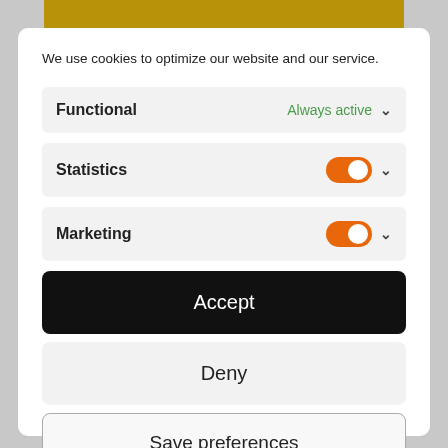We use cookies to optimize our website and our service.
Functional — Always active
Statistics
Marketing
Accept
Deny
Save preferences
Cookie Policy   Privacy policy